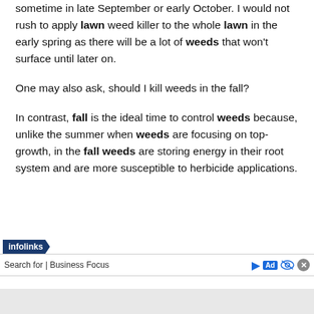sometime in late September or early October. I would not rush to apply lawn weed killer to the whole lawn in the early spring as there will be a lot of weeds that won't surface until later on.

One may also ask, should I kill weeds in the fall?

In contrast, fall is the ideal time to control weeds because, unlike the summer when weeds are focusing on top-growth, in the fall weeds are storing energy in their root system and are more susceptible to herbicide applications.
[Figure (other): Infolinks advertisement bar with 'Search for | Business Focus' text and ad icons, followed by a DIY PEST CONTROL ad unit with red number 1 and red arrow]